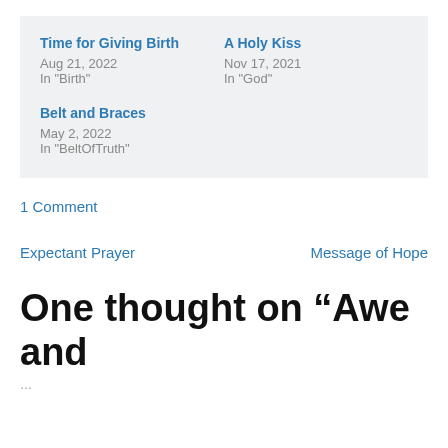Time for Giving Birth
Aug 21, 2022
In "Birth"
A Holy Kiss
Nov 17, 2021
In "God"
Belt and Braces
May 2, 2022
In "BeltOfTruth"
1 Comment
Expectant Prayer
Message of Hope
One thought on “Awe and